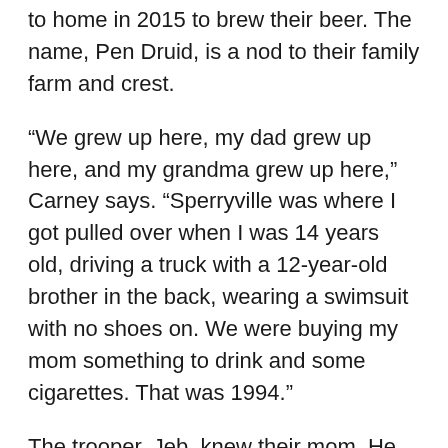to home in 2015 to brew their beer. The name, Pen Druid, is a nod to their family farm and crest.
“We grew up here, my dad grew up here, and my grandma grew up here,” Carney says. “Sperryville was where I got pulled over when I was 14 years old, driving a truck with a 12-year-old brother in the back, wearing a swimsuit with no shoes on. We were buying my mom something to drink and some cigarettes. That was 1994.”
The trooper, Jeb, knew their mom. He let them drive home – still barefoot.
Van Carney started as a homebrewer in 2010 and quickly became obsessed with making better and better beer. The brothers drank a lot of beer on tour,